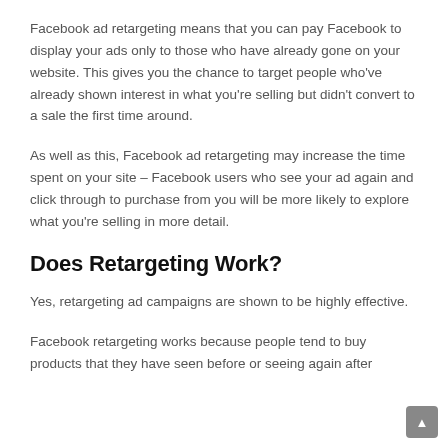Facebook ad retargeting means that you can pay Facebook to display your ads only to those who have already gone on your website. This gives you the chance to target people who've already shown interest in what you're selling but didn't convert to a sale the first time around.
As well as this, Facebook ad retargeting may increase the time spent on your site – Facebook users who see your ad again and click through to purchase from you will be more likely to explore what you're selling in more detail.
Does Retargeting Work?
Yes, retargeting ad campaigns are shown to be highly effective.
Facebook retargeting works because people tend to buy products that they have seen before or seeing again after…